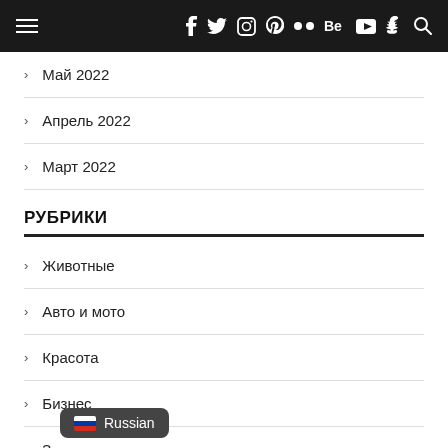Navigation header with hamburger menu and social icons
Май 2022
Апрель 2022
Март 2022
РУБРИКИ
Животные
Авто и мото
Красота
Бизнес
З...